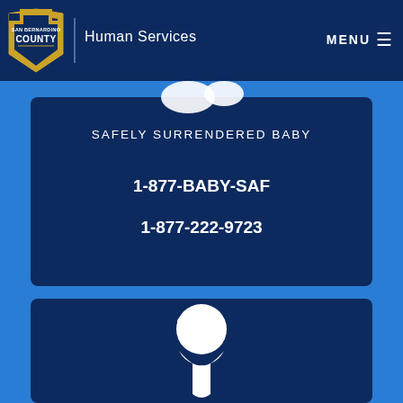San Bernardino County — Human Services
[Figure (logo): San Bernardino County shield logo in gold and white on dark blue background with 'SAN BERNARDINO COUNTY' text]
Human Services
MENU ≡
[Figure (illustration): White silhouette icon of a baby/infant on dark blue card]
SAFELY SURRENDERED BABY
1-877-BABY-SAF
1-877-222-9723
[Figure (illustration): White silhouette icon of a person/child head and shoulders on dark blue card]